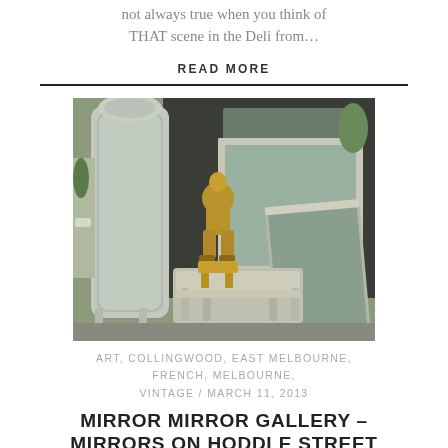not always true when you think of THAT scene in the Deli from…
READ MORE
[Figure (photo): Photograph of ornate silver-framed mirrors and a bronze sculpture displayed outside a gallery on a street. Includes a tall cheval mirror, a rectangular ornate mirror, a smaller framed mirror, and a bronze figurine seated on a silver console table.]
ART, COLLINGWOOD, EAST MELBOURNE, FRENCH, MELBOURNE, VINTAGE / MARCH 11, 2013
MIRROR MIRROR GALLERY – MIRRORS ON HODDLE STREET